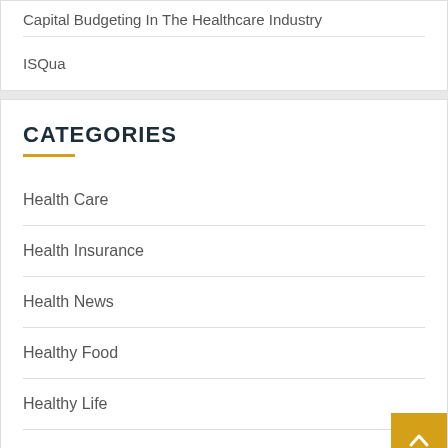Capital Budgeting In The Healthcare Industry
ISQua
CATEGORIES
Health Care
Health Insurance
Health News
Healthy Food
Healthy Life
Uncategorized